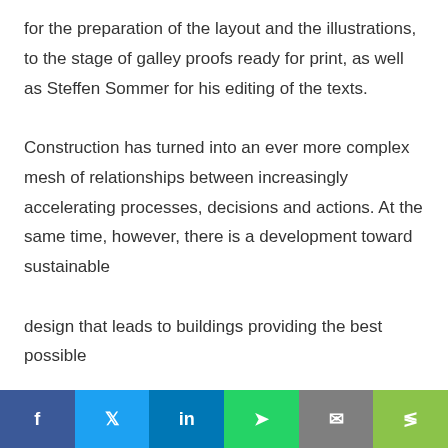for the preparation of the layout and the illustrations, to the stage of galley proofs ready for print, as well as Steffen Sommer for his editing of the texts.

Construction has turned into an ever more complex mesh of relationships between increasingly accelerating processes, decisions and actions. At the same time, however, there is a development toward sustainable

design that leads to buildings providing the best possible

connection of functionality and architecture, energy efficiency and healthy construction materials that can be recycled while at the same time also achieving the
[Figure (other): Social media share bar with icons for Facebook, Twitter, LinkedIn, WhatsApp, Email, and Share]